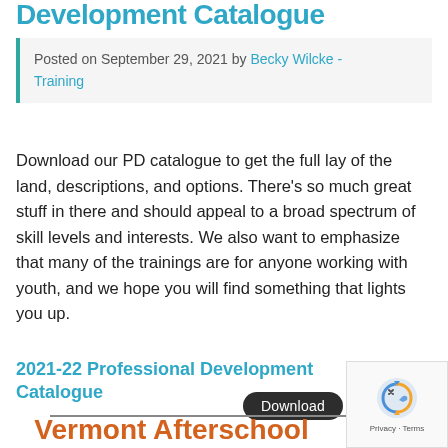Development Catalogue
Posted on September 29, 2021 by Becky Wilcke - Training
Download our PD catalogue to get the full lay of the land, descriptions, and options. There’s so much great stuff in there and should appeal to a broad spectrum of skill levels and interests. We also want to emphasize that many of the trainings are for anyone working with youth, and we hope you will find something that lights you up.
2021-22 Professional Development Catalogue
Download
Vermont Afterschool